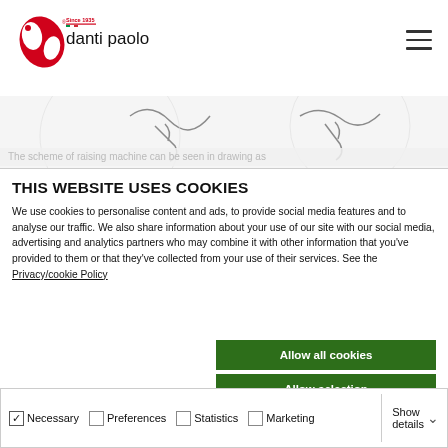danti paolo — Since 1935
[Figure (illustration): Decorative sewing machine curve illustrations in light grey on white background]
The scheme of sewing machine can be seen in drawing as...
THIS WEBSITE USES COOKIES
We use cookies to personalise content and ads, to provide social media features and to analyse our traffic. We also share information about your use of our site with our social media, advertising and analytics partners who may combine it with other information that you've provided to them or that they've collected from your use of their services. See the Privacy/cookie Policy
Allow all cookies
Allow selection
Use necessary cookies only
Necessary  Preferences  Statistics  Marketing  Show details